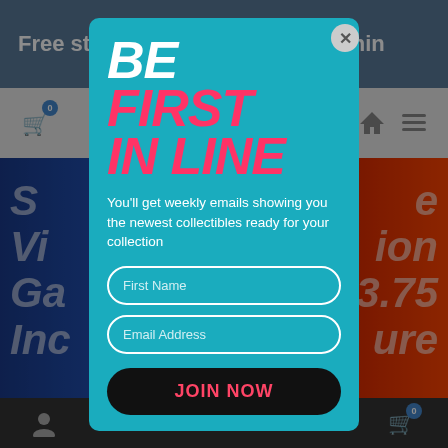Free stando... $150 (within
[Figure (screenshot): E-commerce website screenshot with a popup modal overlay. Background shows comic book imagery. Modal has teal/cyan background with 'BE FIRST IN LINE' headline, body text about weekly emails for collectibles, First Name and Email Address input fields, and a JOIN NOW button.]
BE FIRST IN LINE
You'll get weekly emails showing you the newest collectibles ready for your collection
First Name
Email Address
JOIN NOW